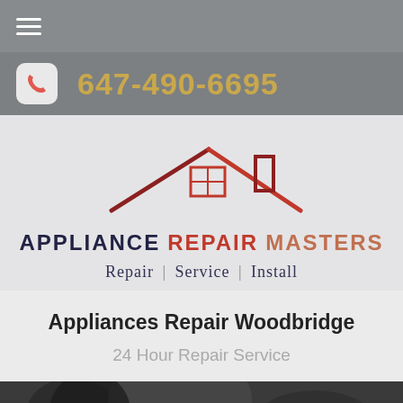≡ (hamburger menu)
647-490-6695
[Figure (logo): Appliance Repair Masters logo — house roofline with window, text: APPLIANCE REPAIR MASTERS, Repair | Service | Install]
Appliances Repair Woodbridge
24 Hour Repair Service
[Figure (photo): Partial view of dark appliance parts, possibly a stove or washer]